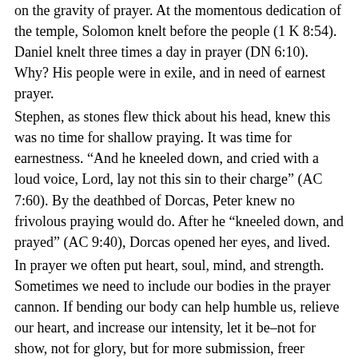on the gravity of prayer. At the momentous dedication of the temple, Solomon knelt before the people (1 K 8:54). Daniel knelt three times a day in prayer (DN 6:10). Why? His people were in exile, and in need of earnest prayer.
Stephen, as stones flew thick about his head, knew this was no time for shallow praying. It was time for earnestness. “And he kneeled down, and cried with a loud voice, Lord, lay not this sin to their charge” (AC 7:60). By the deathbed of Dorcas, Peter knew no frivolous praying would do. After he “kneeled down, and prayed” (AC 9:40), Dorcas opened her eyes, and lived.
In prayer we often put heart, soul, mind, and strength. Sometimes we need to include our bodies in the prayer cannon. If bending our body can help humble us, relieve our heart, and increase our intensity, let it be–not for show, not for glory, but for more submission, freer emotions, and better concentration.